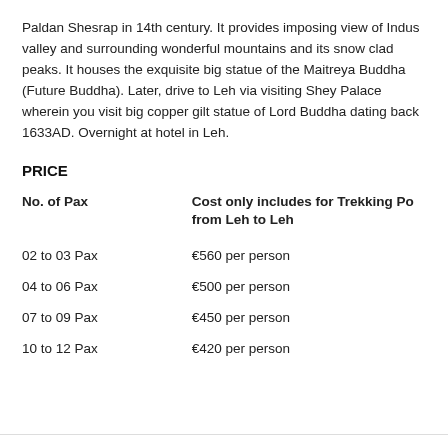Paldan Shesrap in 14th century. It provides imposing view of Indus valley and surrounding wonderful mountains and its snow clad peaks. It houses the exquisite big statue of the Maitreya Buddha (Future Buddha). Later, drive to Leh via visiting Shey Palace wherein you visit big copper gilt statue of Lord Buddha dating back 1633AD. Overnight at hotel in Leh.
PRICE
| No. of Pax | Cost only includes for Trekking Po... from Leh to Leh |
| --- | --- |
| 02 to 03 Pax | €560 per person |
| 04 to 06 Pax | €500 per person |
| 07 to 09 Pax | €450 per person |
| 10 to 12 Pax | €420 per person |